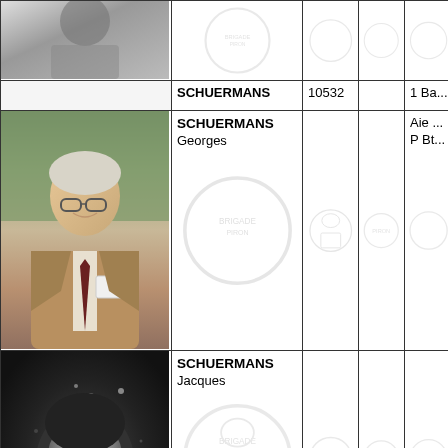| Photo | Name | Number | Year | Unit |
| --- | --- | --- | --- | --- |
| [photo] | SCHUERMANS | 10532 |  | 1 Ba... |
| [photo - Georges] | SCHUERMANS
Georges |  |  | Aie ...
P Bt... |
| [photo - Jacques] | SCHUERMANS
Jacques | 0975 | 1918 | 3 Me...
Coy...
(Sig... |